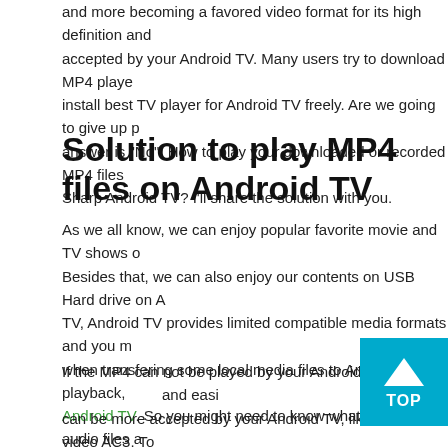and more becoming a favored video format for its high definition and accepted by your Android TV. Many users try to download MP4 player install best TV player for Android TV freely. Are we going to give up p answer is "No". How to play your downloaded or recorded MP4 files Sharp Android TV? I'll share the solution with you.
Solution to play MP4 files on Android TV
As we all know, we can enjoy popular favorite movie and TV shows o Besides that, we can also enjoy our contents on USB Hard drive on A TV, Android TV provides limited compatible media formats and you m when transfering some local media files to Android TV for playback, Android TV. So you might need to know what video and audio files a on USB played smoothly on Android TV. Whether you have bought a help you a lot. Read on for details.
If the MP4 can not be played by your Android TV, the and easi can be more accepted by your Android TV, like H.264 video AC3. To Converter - Acrok Video Converter Ultimate for help. This software with high quality.